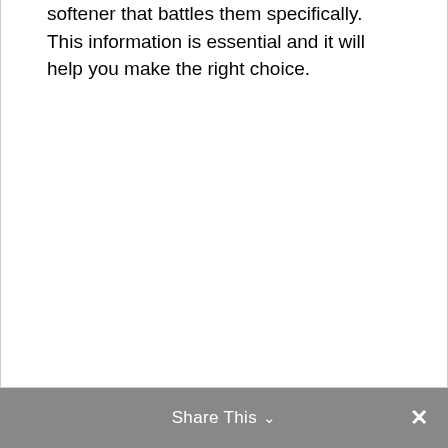softener that battles them specifically. This information is essential and it will help you make the right choice.
Share This ∨  ✕